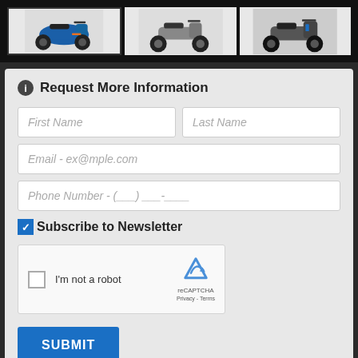[Figure (photo): Three scooter/motorcycle thumbnail images in a dark gallery strip — blue scooter front-left angle, gray scooter side profile, gray/black scooter side profile]
Request More Information
[Figure (screenshot): Web form with fields: First Name, Last Name, Email, Phone Number, Subscribe to Newsletter checkbox (checked), reCAPTCHA widget, SUBMIT button, and disclaimer text]
By pressing SUBMIT, you agree that DX1, LLC and Barton's Motorsports may call/text you at the number provided, for either